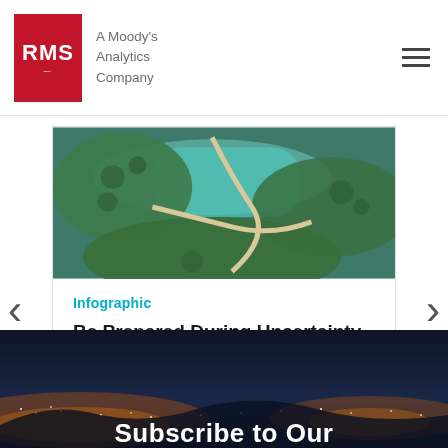[Figure (logo): RMS logo — red square with white RMS text, followed by 'A Moody's Analytics Company' in grey]
[Figure (photo): Aerial view of green landscape with water, paths and trees]
Infographic
Be Prepared During Uncertainty With RMS
Discover how RMS helps customers outperform
[Figure (photo): Night aerial view of a city with glowing lights and dark sky, with text 'Subscribe to Our' overlaid]